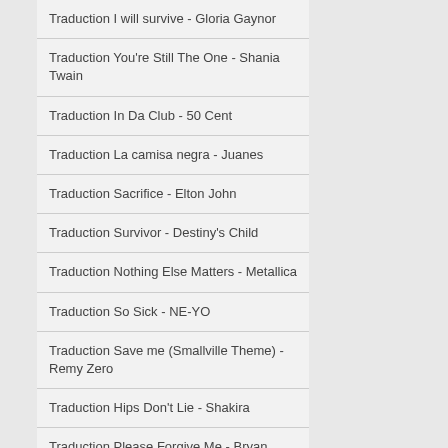Traduction I will survive - Gloria Gaynor
Traduction You're Still The One - Shania Twain
Traduction In Da Club - 50 Cent
Traduction La camisa negra - Juanes
Traduction Sacrifice - Elton John
Traduction Survivor - Destiny's Child
Traduction Nothing Else Matters - Metallica
Traduction So Sick - NE-YO
Traduction Save me (Smallville Theme) - Remy Zero
Traduction Hips Don't Lie - Shakira
Traduction Please Forgive Me - Bryan Adams
Traduction You Are Not Alone - Michael Jackson
Traduction Take My Breath Away (BO Top Gun) - Berlin
Traduction SexyBack - Justin Timberlake